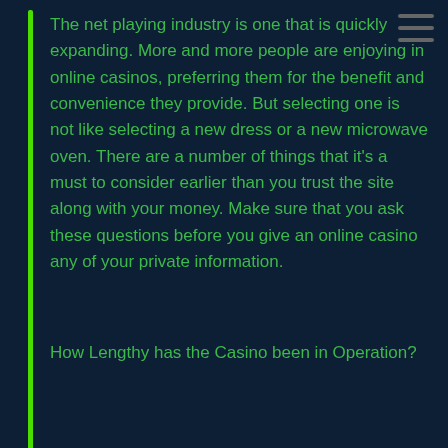The net playing industry is one that is quickly expanding. More and more people are enjoying in online casinos, preferring them for the benefit and convenience they provide. But selecting one is not like selecting a new dress or a new microwave oven. There are a number of things that it's a must to consider earlier than you trust the site along with your money. Make sure that you ask these questions before you give an online casino any of your private information.
How Lengthy has the Casino been in Operation?